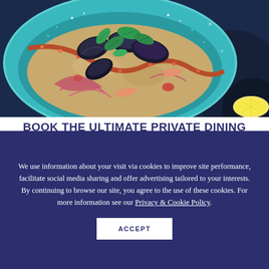[Figure (photo): Overhead photo of a seafood dish in a teal/turquoise ceramic bowl with mussels, octopus tentacles, fresh basil leaves, red onion, and couscous or grain topping, next to a dark blue plate and half lemon on a dark blue background]
BOOK THE ULTIMATE PRIVATE DINING EXPERIENCE
We use information about your visit via cookies to improve site performance, facilitate social media sharing and offer advertising tailored to your interests. By continuing to browse our site, you agree to the use of these cookies. For more information see our Privacy & Cookie Policy.
ACCEPT